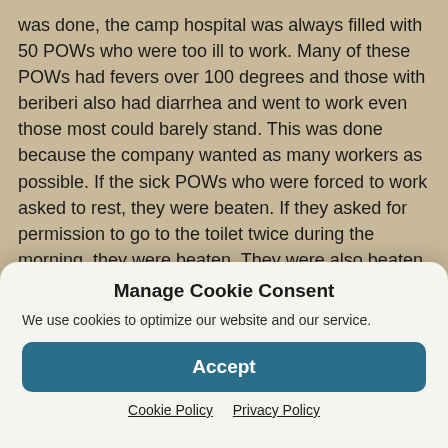was done, the camp hospital was always filled with 50 POWs who were too ill to work. Many of these POWs had fevers over 100 degrees and those with beriberi also had diarrhea and went to work even those most could barely stand. This was done because the company wanted as many workers as possible. If the sick POWs who were forced to work asked to rest, they were beaten. If they asked for permission to go to the toilet twice during the morning, they were beaten. They were also beaten during the trip to or from the docks for going to the side of the road to urinate. It was stated that each evening when the
Manage Cookie Consent
We use cookies to optimize our website and our service.
Accept
Cookie Policy   Privacy Policy